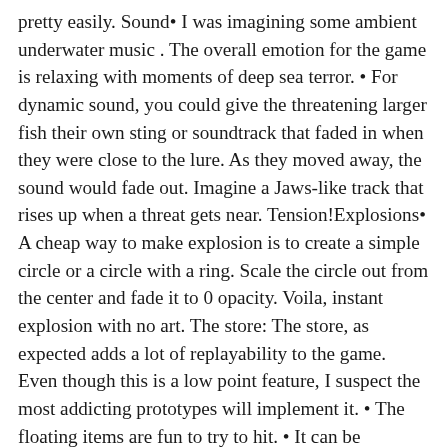pretty easily. Sound• I was imagining some ambient underwater music . The overall emotion for the game is relaxing with moments of deep sea terror. • For dynamic sound, you could give the threatening larger fish their own sting or soundtrack that faded in when they were close to the lure. As they moved away, the sound would fade out. Imagine a Jaws-like track that rises up when a threat gets near. Tension!Explosions• A cheap way to make explosion is to create a simple circle or a circle with a ring. Scale the circle out from the center and fade it to 0 opacity. Voila, instant explosion with no art. The store: The store, as expected adds a lot of replayability to the game. Even though this is a low point feature, I suspect the most addicting prototypes will implement it. • The floating items are fun to try to hit. • It can be annoying if your lure hits a store and you just wanted to fish. One solution is to allow players to decide to reel in items or not. If you hit the store, you have a second or two to decide if you